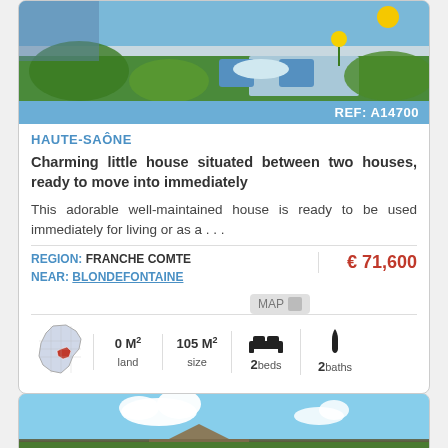[Figure (photo): Garden/terrace photo of the property with blue chairs and flowers]
REF: A14700
HAUTE-SAÔNE
Charming little house situated between two houses, ready to move into immediately
This adorable well-maintained house is ready to be used immediately for living or as a . . .
REGION: FRANCHE COMTE
NEAR: BLONDEFONTAINE
€ 71,600
0 M² land   105 M² size   2 beds   2 baths
[Figure (photo): Exterior photo of another property with blue sky and clouds]